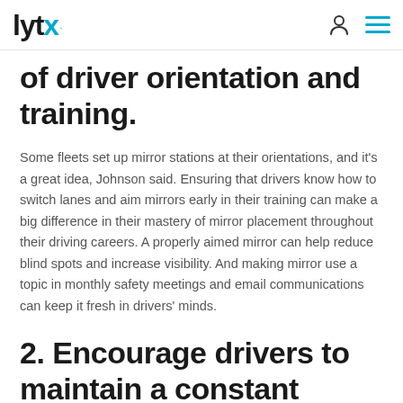lytx. [logo with person icon and menu icon]
of driver orientation and training.
Some fleets set up mirror stations at their orientations, and it's a great idea, Johnson said. Ensuring that drivers know how to switch lanes and aim mirrors early in their training can make a big difference in their mastery of mirror placement throughout their driving careers. A properly aimed mirror can help reduce blind spots and increase visibility. And making mirror use a topic in monthly safety meetings and email communications can keep it fresh in drivers' minds.
2. Encourage drivers to maintain a constant glance at